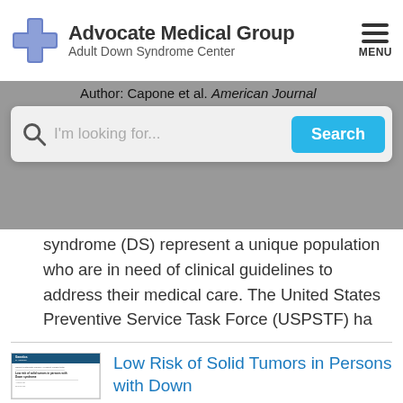[Figure (logo): Advocate Medical Group Adult Down Syndrome Center logo with blue cross symbol]
Author: Capone et al. American Journal of Medical Genetics Part
I'm looking for...  Search
syndrome (DS) represent a unique population who are in need of clinical guidelines to address their medical care. The United States Preventive Service Task Force (USPSTF) ha
[Figure (screenshot): Thumbnail of Genetics in Medicine journal article: Low risk of solid tumors in persons with Down syndrome]
Low Risk of Solid Tumors in Persons with Down